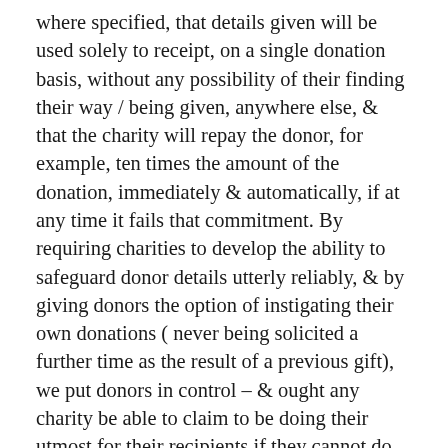where specified, that details given will be used solely to receipt, on a single donation basis, without any possibility of their finding their way / being given, anywhere else, & that the charity will repay the donor, for example, ten times the amount of the donation, immediately & automatically, if at any time it fails that commitment. By requiring charities to develop the ability to safeguard donor details utterly reliably, & by giving donors the option of instigating their own donations ( never being solicited a further time as the result of a previous gift), we put donors in control – & ought any charity be able to claim to be doing their utmost for their recipients if they cannot do such a simple thing as accept a one-off donation & generation nothing more to the donor than a receipt? To my mind it is unarguable that charities ought be able to promise this very minimal level of professionalism, & it is absurd to pretend there is anything reasonable about excusing them this simple, straightforward requirement.